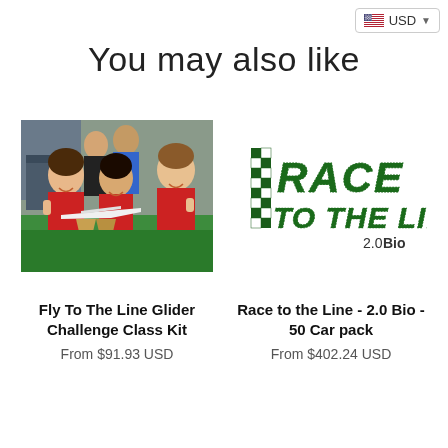USD
You may also like
[Figure (photo): Children in red shirts smiling and holding a cardboard glider airplane at a green classroom table]
[Figure (logo): Race to the Line 2.0 Bio logo with checkered flag pattern in dark green]
Fly To The Line Glider Challenge Class Kit
From $91.93 USD
Race to the Line - 2.0 Bio - 50 Car pack
From $402.24 USD